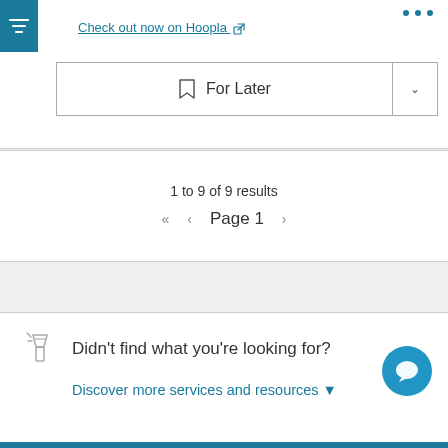Check out now on Hoopla
For Later
1 to 9 of 9 results
Page 1
Didn't find what you're looking for?
Discover more services and resources